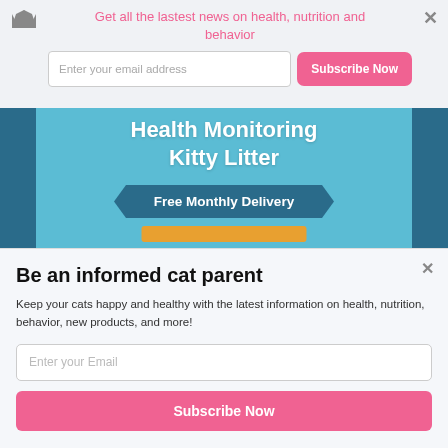Get all the lastest news on health, nutrition and behavior
[Figure (screenshot): Health Monitoring Kitty Litter advertisement banner with teal background, dark blue side bars, ribbon reading 'Free Monthly Delivery', and an orange button at bottom]
Be an informed cat parent
Keep your cats happy and healthy with the latest information on health, nutrition, behavior, new products, and more!
Enter your Email
Subscribe Now